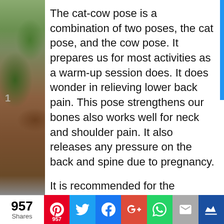The cat-cow pose is a combination of two poses, the cat pose, and the cow pose. It prepares us for most activities as a warm-up session does. It does wonder in relieving lower back pain. This pose strengthens our bones also works well for neck and shoulder pain. It also releases any pressure on the back and spine due to pregnancy.
It is recommended for the prevention of severe ailments like osteoporosis and osteopenia, arthritis or stiffness of the hips and spine.
[Figure (photo): Left side image strip showing plants and brick wall background]